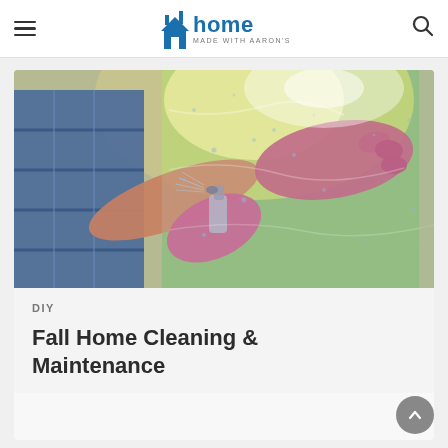Home Made with Aaron's
[Figure (photo): Person wearing pink rubber gloves spraying and cleaning a window, wearing a blue plaid shirt, with green foliage visible through the glass]
DIY
Fall Home Cleaning & Maintenance